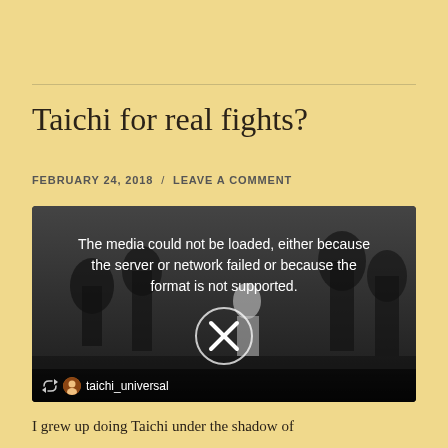Taichi for real fights?
FEBRUARY 24, 2018  /  LEAVE A COMMENT
[Figure (screenshot): Embedded video player showing a media error. Dark background with shadowy figures of temple architecture and a person in white. Error message: 'The media could not be loaded, either because the server or network failed or because the format is not supported.' with an X icon in a circle. Footer shows repost icon and taichi_universal account name.]
I grew up doing Taichi under the shadow of